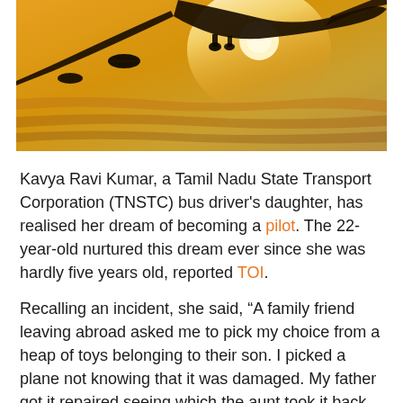[Figure (photo): Airplane silhouette against a warm golden-yellow sunset sky, viewed from below showing underside of aircraft wings and fuselage.]
Kavya Ravi Kumar, a Tamil Nadu State Transport Corporation (TNSTC) bus driver's daughter, has realised her dream of becoming a pilot. The 22-year-old nurtured this dream ever since she was hardly five years old, reported TOI.
Recalling an incident, she said, “A family friend leaving abroad asked me to pick my choice from a heap of toys belonging to their son. I picked a plane not knowing that it was damaged. My father got it repaired seeing which the aunt took it back and gave it back to her son.”